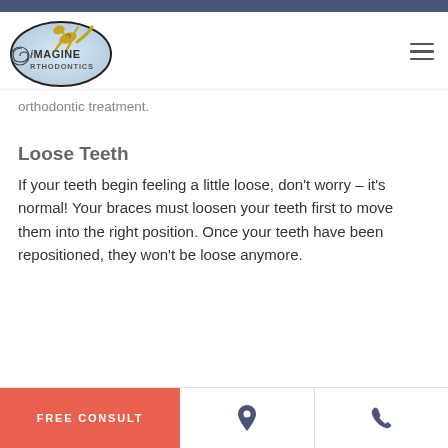[Figure (logo): Imagine Orthodontics logo with lizard/gecko illustration inside an oval shape]
orthodontic treatment.
Loose Teeth
If your teeth begin feeling a little loose, don't worry – it's normal! Your braces must loosen your teeth first to move them into the right position. Once your teeth have been repositioned, they won't be loose anymore.
FREE CONSULT